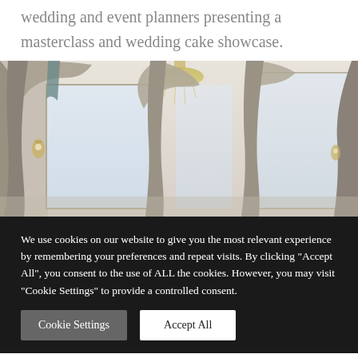wedding and event planners presenting a masterclass and wedding cake showcase.
[Figure (photo): Interior room with ornate curtains and drapes in grey/taupe tones, large windows with chandelier visible, elegant event venue setting]
We use cookies on our website to give you the most relevant experience by remembering your preferences and repeat visits. By clicking “Accept All”, you consent to the use of ALL the cookies. However, you may visit "Cookie Settings" to provide a controlled consent.